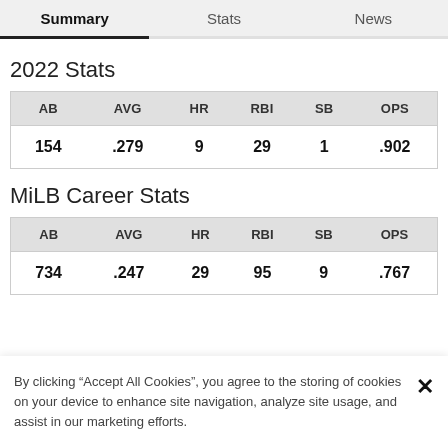Summary | Stats | News
2022 Stats
| AB | AVG | HR | RBI | SB | OPS |
| --- | --- | --- | --- | --- | --- |
| 154 | .279 | 9 | 29 | 1 | .902 |
MiLB Career Stats
| AB | AVG | HR | RBI | SB | OPS |
| --- | --- | --- | --- | --- | --- |
| 734 | .247 | 29 | 95 | 9 | .767 |
By clicking “Accept All Cookies”, you agree to the storing of cookies on your device to enhance site navigation, analyze site usage, and assist in our marketing efforts.